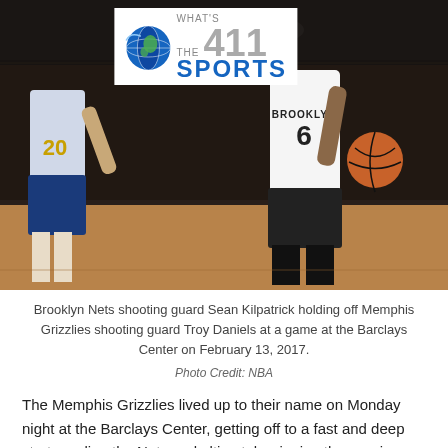[Figure (photo): Brooklyn Nets shooting guard wearing jersey number 6 dribbling basketball against Memphis Grizzlies player at Barclays Center, with What's The 411 Sports logo overlay in top center]
Brooklyn Nets shooting guard Sean Kilpatrick holding off Memphis Grizzlies shooting guard Troy Daniels at a game at the Barclays Center on February 13, 2017.
Photo Credit: NBA
The Memphis Grizzlies lived up to their name on Monday night at the Barclays Center, getting off to a fast and deep start mauling the Nets and ultimately winning the session 112-103.
It wasn't a blow-out, but with Mike Conley's game-high 32